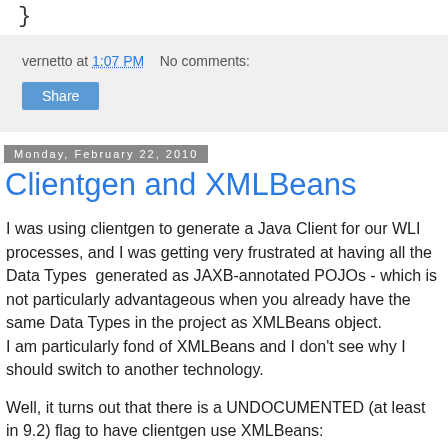}
vernetto at 1:07 PM   No comments:
Share
Monday, February 22, 2010
Clientgen and XMLBeans
I was using clientgen to generate a Java Client for our WLI processes, and I was getting very frustrated at having all the Data Types  generated as JAXB-annotated POJOs - which is not particularly advantageous when you already have the same Data Types in the project as XMLBeans object.
I am particularly fond of XMLBeans and I don't see why I should switch to another technology.
Well, it turns out that there is a UNDOCUMENTED (at least in 9.2) flag to have clientgen use XMLBeans: